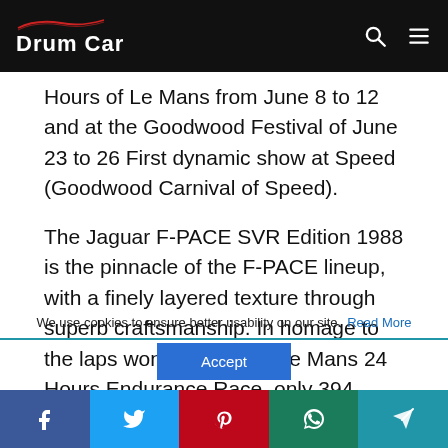Drum Car
Hours of Le Mans from June 8 to 12 and at the Goodwood Festival of June 23 to 26 First dynamic show at Speed (Goodwood Carnival of Speed).
The Jaguar F-PACE SVR Edition 1988 is the pinnacle of the F-PACE lineup, with a finely layered texture through superb craftsmanship. In homage to the laps won in the 1988 Le Mans 24 Hours Endurance Race, only 394 vehicles were produced in the world, Jaguar
We use cookies to ensure better usability on our site. Read More
Accept
Facebook  Twitter  Pinterest  WhatsApp  Share